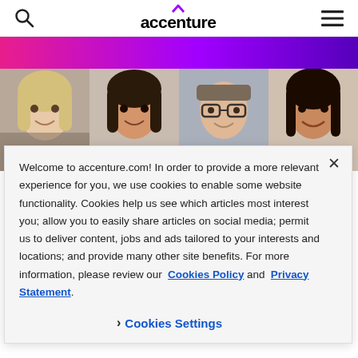accenture
[Figure (photo): Four headshot photos of professionals arranged side by side with a pink-to-purple gradient banner at top]
Welcome to accenture.com! In order to provide a more relevant experience for you, we use cookies to enable some website functionality. Cookies help us see which articles most interest you; allow you to easily share articles on social media; permit us to deliver content, jobs and ads tailored to your interests and locations; and provide many other site benefits. For more information, please review our Cookies Policy and Privacy Statement.
› Cookies Settings